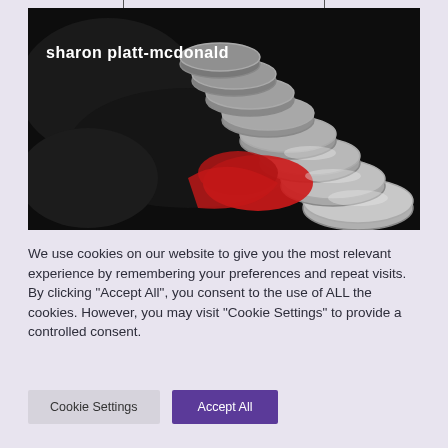[Figure (photo): Close-up photo of a metallic coil spring in silver/grey tones with a red element and black textured background. White bold text overlaid reads 'sharon platt-mcdonald'.]
We use cookies on our website to give you the most relevant experience by remembering your preferences and repeat visits. By clicking "Accept All", you consent to the use of ALL the cookies. However, you may visit "Cookie Settings" to provide a controlled consent.
Cookie Settings    Accept All